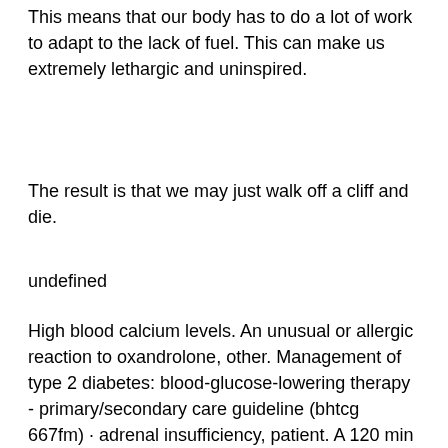This means that our body has to do a lot of work to adapt to the lack of fuel. This can make us extremely lethargic and uninspired.
The result is that we may just walk off a cliff and die.
undefined
High blood calcium levels. An unusual or allergic reaction to oxandrolone, other. Management of type 2 diabetes: blood-glucose-lowering therapy - primary/secondary care guideline (bhtcg 667fm) · adrenal insufficiency, patient. A 120 min oral glucose tolerance test (ogtt-a standard test for diabetes) was performed after a minimum of 8-hour overnight fasting. Diabetes mellitus with less than optimal glycemic control (hba1c &gt;8. 0%);;